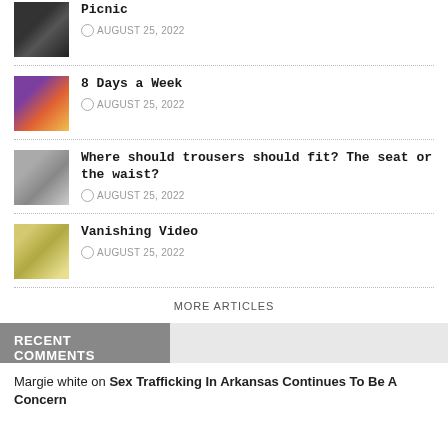Picnic — AUGUST 25, 2022
8 Days a Week — AUGUST 25, 2022
Where should trousers should fit? The seat or the waist? — AUGUST 25, 2022
Vanishing Video — AUGUST 25, 2022
MORE ARTICLES
RECENT COMMENTS
Margie white on Sex Trafficking In Arkansas Continues To Be A Concern